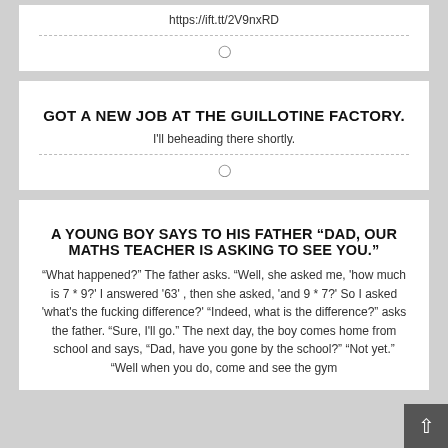https://ift.tt/2V9nxRD
⊙
GOT A NEW JOB AT THE GUILLOTINE FACTORY.
I'll beheading there shortly.
⊙
A YOUNG BOY SAYS TO HIS FATHER "DAD, OUR MATHS TEACHER IS ASKING TO SEE YOU."
"What happened?" The father asks. "Well, she asked me, 'how much is 7 * 9?' I answered '63' , then she asked, 'and 9 * 7?' So I asked 'what's the fucking difference?' "Indeed, what is the difference?" asks the father. "Sure, I'll go." The next day, the boy comes home from school and says, "Dad, have you gone by the school?" "Not yet." "Well when you do, come and see the gym